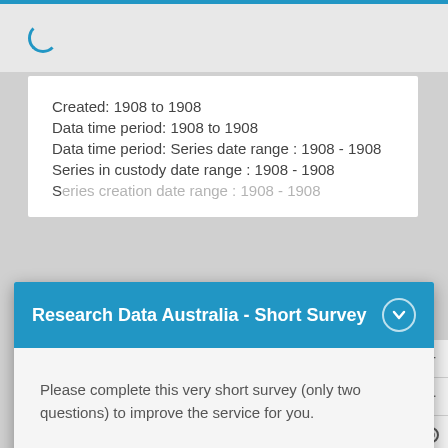Created: 1908 to 1908
Data time period: 1908 to 1908
Data time period: Series date range : 1908 - 1908
Series in custody date range : 1908 - 1908
Research Data Australia - Short Survey
Please complete this very short survey (only two questions) to improve the service for you.